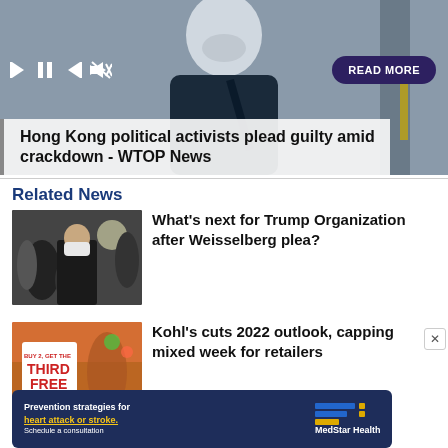[Figure (screenshot): Video thumbnail showing a person wearing a face mask and dark clothing, with video playback controls and a 'READ MORE' button overlay]
Hong Kong political activists plead guilty amid crackdown - WTOP News
Related News
[Figure (photo): Photo of a person in a suit wearing a face mask walking with others in a building]
What's next for Trump Organization after Weisselberg plea?
[Figure (photo): Photo of a store display with 'BUY 2, GET THE THIRD FREE' sign]
Kohl's cuts 2022 outlook, capping mixed week for retailers
[Figure (infographic): MedStar Health advertisement: Prevention strategies for heart attack or stroke. Schedule a consultation.]